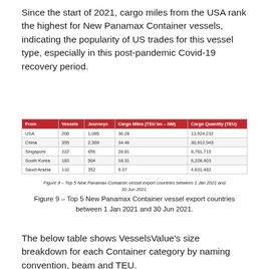Since the start of 2021, cargo miles from the USA rank the highest for New Panamax Container vessels, indicating the popularity of US trades for this vessel type, especially in this post-pandemic Covid-19 recovery period.
| From | Vessels | Journeys | Cargo Miles (TEU bn – NM) | Cargo Quantity (TEU) |
| --- | --- | --- | --- | --- |
| USA | 208 | 1,085 | 36.28 | 13,924,232 |
| China | 355 | 2,369 | 34.46 | 30,912,943 |
| Singapore | 222 | 656 | 28.81 | 8,781,715 |
| South Korea | 183 | 504 | 18.31 | 6,228,403 |
| Saudi Arabia | 110 | 352 | 9.37 | 4,631,482 |
Figure 9 – Top 5 New Panamax Container vessel export countries between 1 Jan 2021 and 30 Jun 2021.
The below table shows VesselsValue's size breakdown for each Container category by naming convention, beam and TEU.